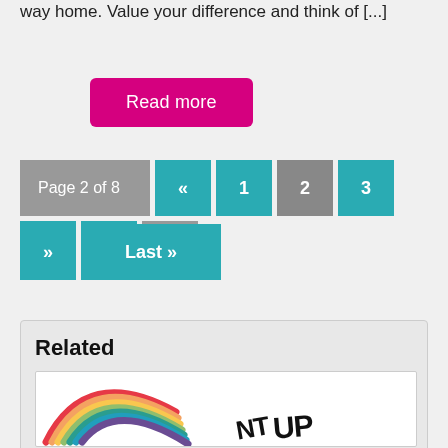way home.  Value your difference and think of [...]
Read more
Page 2 of 8  «  1  2  3  4  5  ...  »  Last »
Related
[Figure (logo): Rainbow arc logo with colorful stripes and partial text 'UP']